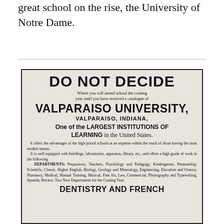great school on the rise, the University of Notre Dame.
[Figure (other): Historical newspaper advertisement for Valparaiso University, Indiana. Headline: 'DO NOT DECIDE Where you will attend school the coming year until you have received a catalogue of VALPARAISO UNIVERSITY, VALPARAISO, INDIANA, One of the LARGEST INSTITUTIONS OF LEARNING in the United States.' Body text describes the university's offerings and departments. Footer text: 'DENTISTRY AND FRENCH']